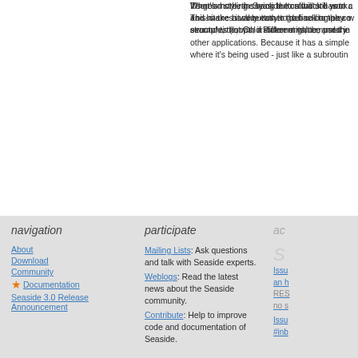There's nothing saying the callback has to call answer. This makes it very easy to define complex workflow structures (loops, if statements, temporary
What's more, the back button will still work. and hit the back button to go back to the callback a second time, with a different value, and the
It's good style in Seaside to structure your app so that #answer: a value rather than calling any other. For example, that ColorPicker might be used in many other applications. Because it has a simple interface, where it's being used - just like a subroutine
navigation
About
Download
Community
Documentation
Seaside 3.0 Release Announcement
participate
Mailing Lists: Ask questions and talk with Seaside experts.
Weblogs: Read the latest news about the Seaside community.
Contribute: Help to improve code and documentation of Seaside.
ad
Issu an h RES no s Issu #inb